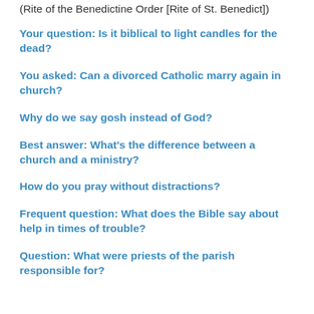(Rite of the Benedictine Order [Rite of St. Benedict])
Your question: Is it biblical to light candles for the dead?
You asked: Can a divorced Catholic marry again in church?
Why do we say gosh instead of God?
Best answer: What's the difference between a church and a ministry?
How do you pray without distractions?
Frequent question: What does the Bible say about help in times of trouble?
Question: What were priests of the parish responsible for?